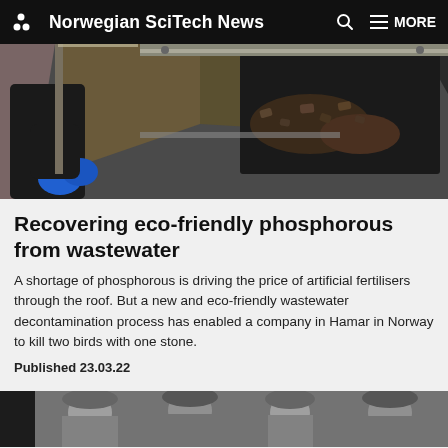Norwegian SciTech News
[Figure (photo): Worker wearing black clothing and blue gloves handling material on an industrial conveyor or processing machine, dark industrial setting.]
Recovering eco-friendly phosphorous from wastewater
A shortage of phosphorous is driving the price of artificial fertilisers through the roof. But a new and eco-friendly wastewater decontamination process has enabled a company in Hamar in Norway to kill two birds with one stone.
Published 23.03.22
[Figure (photo): Black and white close-up photograph of people or machinery, partially visible at bottom of page.]